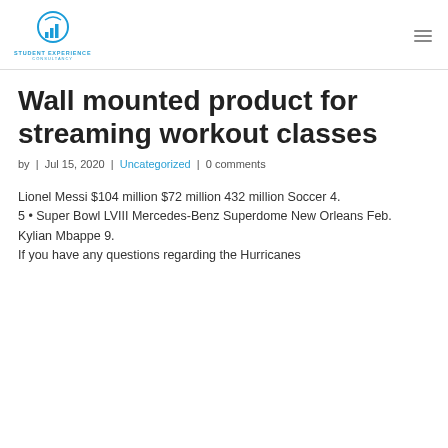Student Experience Consultancy
Wall mounted product for streaming workout classes
by | Jul 15, 2020 | Uncategorized | 0 comments
Lionel Messi $104 million $72 million 432 million Soccer 4.
5 • Super Bowl LVIII Mercedes-Benz Superdome New Orleans Feb.
Kylian Mbappe 9.
If you have any questions regarding the Hurricanes